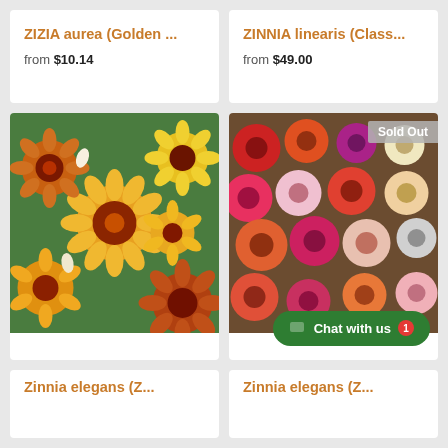ZIZIA aurea (Golden ...
from $10.14
ZINNIA linearis (Class...
from $49.00
[Figure (photo): Close-up of yellow and red-brown zinnia flowers in bloom]
[Figure (photo): Colorful zinnia flowers in red, pink, orange, purple, white, arranged closely. 'Sold Out' badge in top right corner.]
Zinnia elegans (Z...
Zinnia elegans (Z...